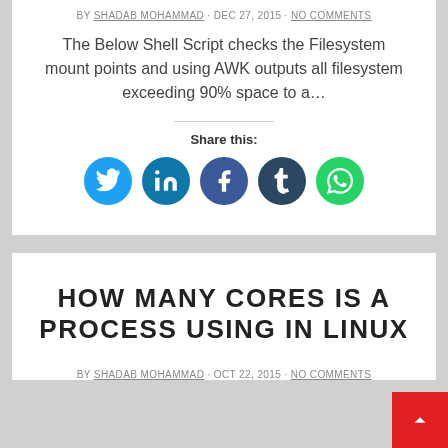BY SHADAB MOHAMMAD · DEC 27, 2015 · NO COMMENTS
The Below Shell Script checks the Filesystem mount points and using AWK outputs all filesystem exceeding 90% space to a…
Share this:
[Figure (infographic): Social share buttons: Twitter (cyan), LinkedIn (dark blue), Facebook (blue), Tumblr (dark navy), WhatsApp (green)]
HOW MANY CORES IS A PROCESS USING IN LINUX
BY SHADAB MOHAMMAD · OCT 22, 2015 · NO COMMENTS